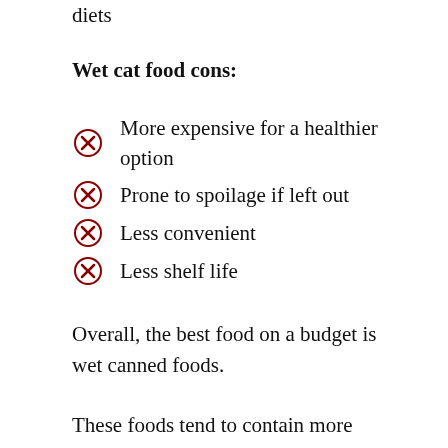diets
Wet cat food cons:
More expensive for a healthier option
Prone to spoilage if left out
Less convenient
Less shelf life
Overall, the best food on a budget is wet canned foods.
These foods tend to contain more ingredients